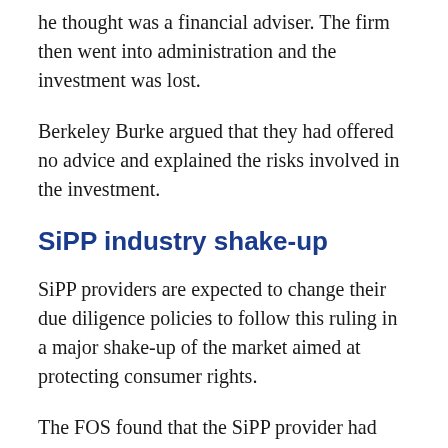he thought was a financial adviser. The firm then went into administration and the investment was lost.
Berkeley Burke argued that they had offered no advice and explained the risks involved in the investment.
SiPP industry shake-up
SiPP providers are expected to change their due diligence policies to follow this ruling in a major shake-up of the market aimed at protecting consumer rights.
The FOS found that the SiPP provider had floated Financial Conduct Authority (FCA)...